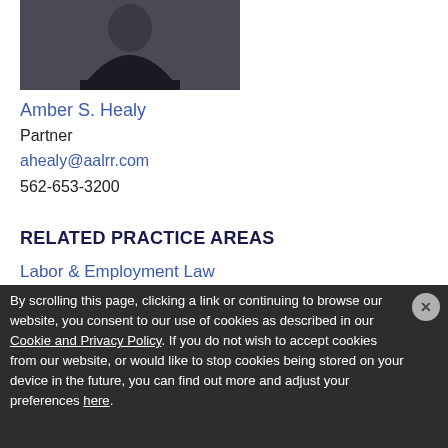[Figure (photo): Professional headshot photo of Amber S. Healy, a woman with brown hair wearing a black top, photographed against a grey background.]
Amber S. Healy
Partner
ahealy@aalrr.com
562-653-3200
RELATED PRACTICE AREAS
Labor & Employment Law
By scrolling this page, clicking a link or continuing to browse our website, you consent to our use of cookies as described in our Cookie and Privacy Policy. If you do not wish to accept cookies from our website, or would like to stop cookies being stored on your device in the future, you can find out more and adjust your preferences here.